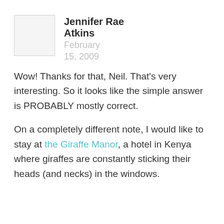[Figure (photo): Square avatar placeholder image, light gray with border]
Jennifer Rae Atkins  February 15, 2009
Wow! Thanks for that, Neil. That’s very interesting. So it looks like the simple answer is PROBABLY mostly correct.

On a completely different note, I would like to stay at the Giraffe Manor, a hotel in Kenya where giraffes are constantly sticking their heads (and necks) in the windows.